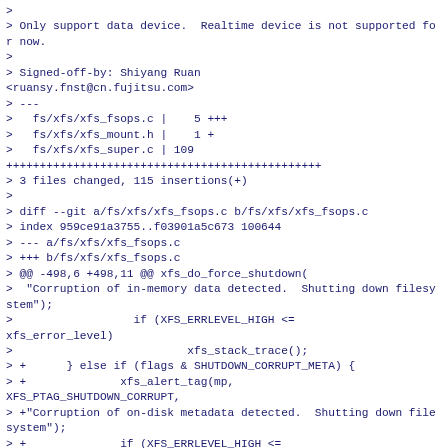> Only support data device.  Realtime device is not supported for now.
>
> Signed-off-by: Shiyang Ruan <ruansy.fnst@cn.fujitsu.com>
> ---
>   fs/xfs/xfs_fsops.c |    5 +++
>   fs/xfs/xfs_mount.h |    1 +
>   fs/xfs/xfs_super.c | 109 ++++++++++++++++++++++++++++++++++++++++++++
> 3 files changed, 115 insertions(+)
>
> diff --git a/fs/xfs/xfs_fsops.c b/fs/xfs/xfs_fsops.c
> index 959ce91a3755..f03901a5c673 100644
> --- a/fs/xfs/xfs_fsops.c
> +++ b/fs/xfs/xfs_fsops.c
> @@ -498,6 +498,11 @@ xfs_do_force_shutdown(
>  "Corruption of in-memory data detected.  Shutting down filesystem");
>                  if (XFS_ERRLEVEL_HIGH <=
xfs_error_level)
>                          xfs_stack_trace();
> +      } else if (flags & SHUTDOWN_CORRUPT_META) {
> +              xfs_alert_tag(mp,
XFS_PTAG_SHUTDOWN_CORRUPT,
> +"Corruption of on-disk metadata detected.  Shutting down filesystem");
> +              if (XFS_ERRLEVEL_HIGH <=
xfs_error_level)
> +                      xfs_stack_trace();